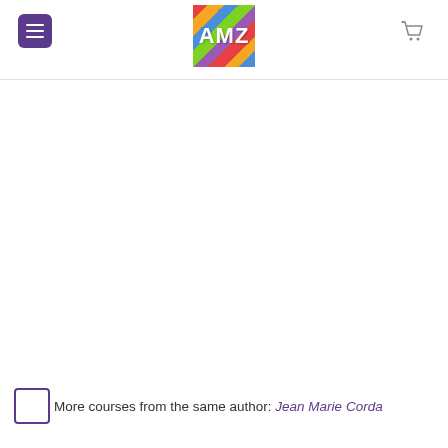[Figure (logo): AMZ logo with colorful geometric background and white border, with hamburger menu button on left and shopping cart icon on right]
More courses from the same author: Jean Marie Corda